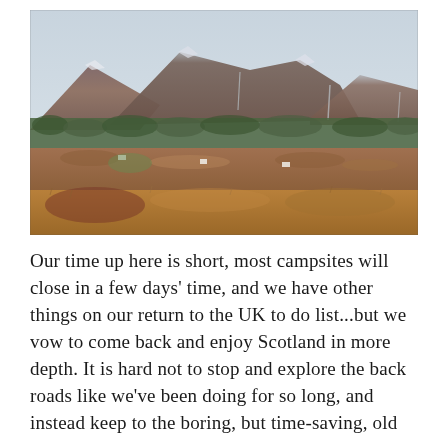[Figure (photo): Landscape photograph of Scottish Highlands showing rolling moorland with brown autumn heather in the foreground, scattered trees in the middle ground, and large mountains with snow-dusted peaks in the background under a pale overcast sky. Small white farm buildings are visible in the valley.]
Our time up here is short, most campsites will close in a few days' time, and we have other things on our return to the UK to do list...but we vow to come back and enjoy Scotland in more depth. It is hard not to stop and explore the back roads like we've been doing for so long, and instead keep to the boring, but time-saving, old